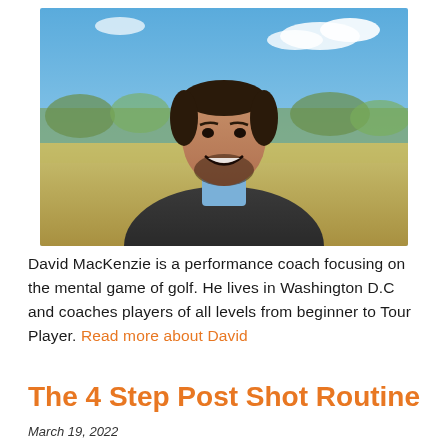[Figure (photo): Portrait photo of David MacKenzie, a man smiling outdoors on a golf course with blue sky and trees in the background, wearing a dark jacket with a blue collar.]
David MacKenzie is a performance coach focusing on the mental game of golf. He lives in Washington D.C and coaches players of all levels from beginner to Tour Player. Read more about David
The 4 Step Post Shot Routine
March 19, 2022